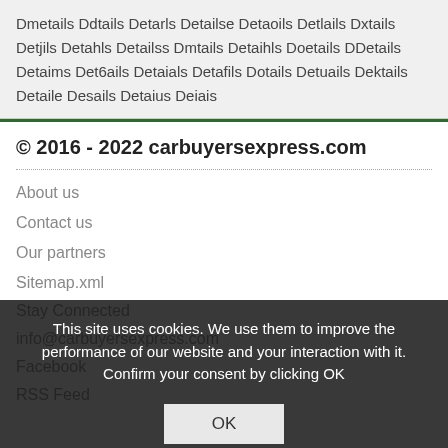Dmetails Ddtails Detarls Detailse Detaoils Detlails Dxtails Detjils Detahls Detailss Dmtails Detaihls Doetails DDetails Detaims Det6ails Detaials Detafils Dotails Detuails Dektails Detaile Desails Detaius Deiais
© 2016 - 2022 carbuyersexpress.com
About us
Contact us
Our partners
Sitemap.xml
info@carbuyersexpress.com
Facebook
RSS Feed
This site uses cookies. We use them to improve the performance of our website and your interaction with it. Confirm your consent by clicking OK